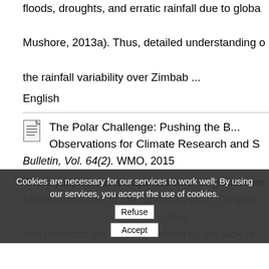floods, droughts, and erratic rainfall due to globa... Mushore, 2013a). Thus, detailed understanding of the rainfall variability over Zimbab ...
English
The Polar Challenge: Pushing the Boundaries of Observations for Climate Research and S... Bulletin, Vol. 64(2). WMO, 2015
The cryosphere is a major indicator of global clim... fundamental role in the climate system. Despite... clima... and Antarctic are severely limited by the lack of
Cookies are necessary for our services to work well; By using our services, you accept the use of cookies.